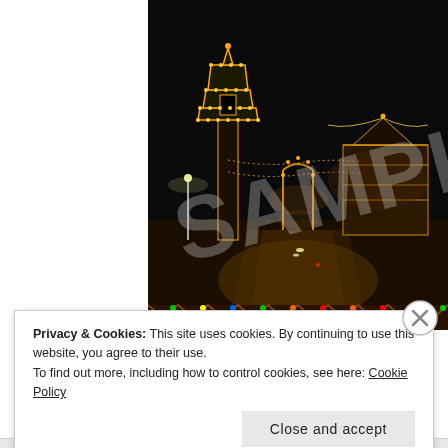[Figure (photo): Night photograph of a city street decorated with Christmas lights. A large illuminated tower/pavilion structure with warm golden lights dominates the left-center. String lights and holiday decorations line the street stretching into the distance. Buildings with lights visible on the right. A diagonal watermark reading 'SAMPLE' in large grey semi-transparent text overlays the image.]
Privacy & Cookies: This site uses cookies. By continuing to use this website, you agree to their use.
To find out more, including how to control cookies, see here: Cookie Policy
Close and accept